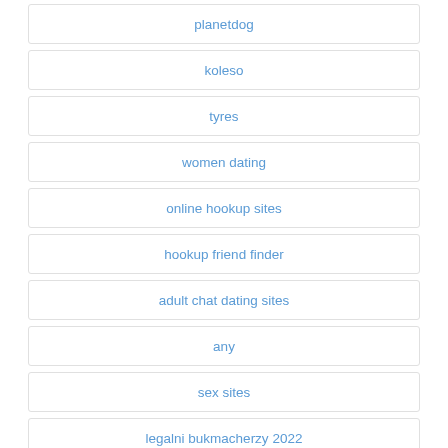planetdog
koleso
tyres
women dating
online hookup sites
hookup friend finder
adult chat dating sites
any
sex sites
legalni bukmacherzy 2022
Marathi 2021 18l